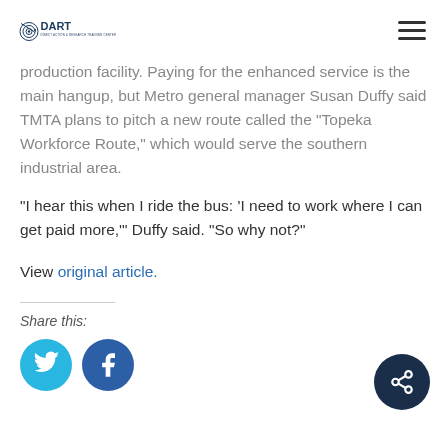DART - Direct Action & Research Training Center
production facility. Paying for the enhanced service is the main hangup, but Metro general manager Susan Duffy said TMTA plans to pitch a new route called the “Topeka Workforce Route,” which would serve the southern industrial area.
“I hear this when I ride the bus: ‘I need to work where I can get paid more,’” Duffy said. “So why not?”
View original article.
Share this:
[Figure (infographic): Twitter and Facebook share buttons, plus a share FAB button in dark navy]